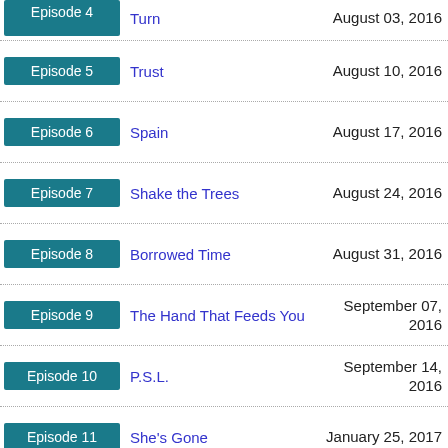| Episode | Title | Air Date |
| --- | --- | --- |
| Episode 4 | Turn | August 03, 2016 |
| Episode 5 | Trust | August 10, 2016 |
| Episode 6 | Spain | August 17, 2016 |
| Episode 7 | Shake the Trees | August 24, 2016 |
| Episode 8 | Borrowed Time | August 31, 2016 |
| Episode 9 | The Hand That Feeds You | September 07, 2016 |
| Episode 10 | P.S.L. | September 14, 2016 |
| Episode 11 | She's Gone | January 25, 2017 |